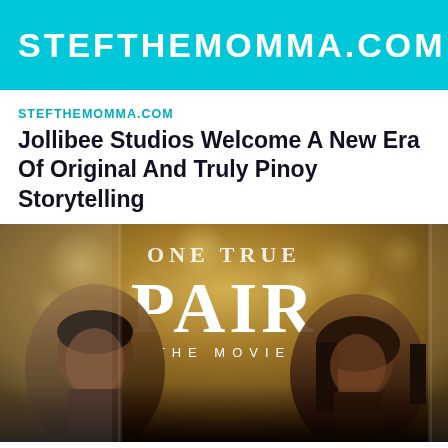STEFTHEMOMMA.COM
STEFTHEMOMMA.COM
Jollibee Studios Welcome A New Era Of Original And Truly Pinoy Storytelling
[Figure (photo): Movie poster for 'One True Pair The Movie' showing two actors facing each other with a golden bokeh background. Large text reads ONE TRUE PAIR THE MOVIE.]